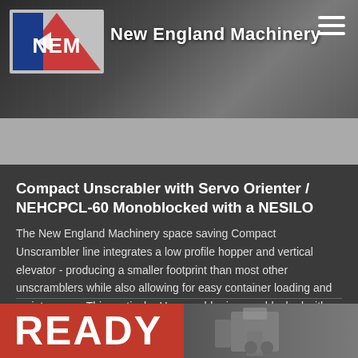[Figure (photo): New England Machinery header banner with logo (NEM with red and blue colors) and company name 'New England Machinery', machinery in background, hamburger menu icon top right]
Compact Unscrabler with Servo Orienter / NEHCPCL-60 Monoblocked with a NESILO
The New England Machinery space saving Compact Unscrambler line integrates a low profile hopper and vertical elevator - producing a smaller footprint than most other unscramblers while also allowing for easy container loading and maintenance. This particular Unscrambler is monoblocked with a Servo Inline Orienter capable of orienting any container with an extended neck from 1 to 360 degrees at speeds of up to 300 cpm.
[Figure (photo): Bottom red banner showing 'READY' text in white on red background with partial machinery image on the right]